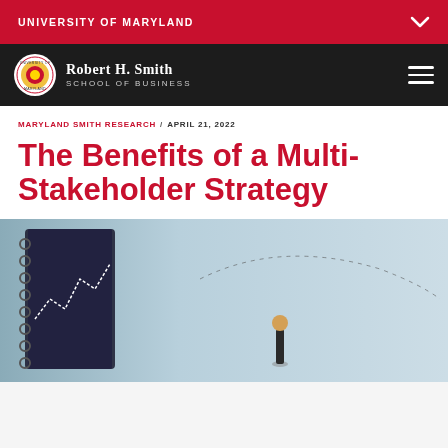UNIVERSITY OF MARYLAND
ROBERT H. SMITH SCHOOL OF BUSINESS
MARYLAND SMITH RESEARCH / APRIL 21, 2022
The Benefits of a Multi-Stakeholder Strategy
[Figure (photo): A photo showing a spiral-bound notebook with a graph and a small figurine standing on it, suggesting strategy or planning.]